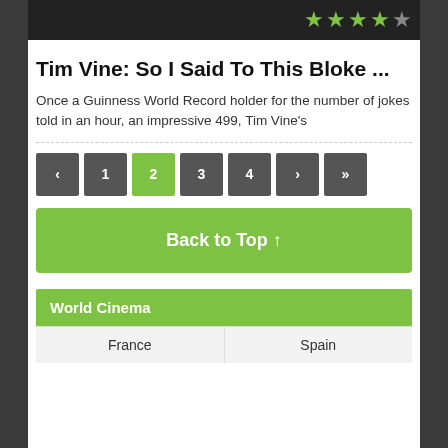[Figure (photo): Dark banner image with star rating showing 3.5 out of 5 green stars]
Tim Vine: So I Said To This Bloke ...
Once a Guinness World Record holder for the number of jokes told in an hour, an impressive 499, Tim Vine's
Pagination: ‹ 1 2 3 4 › »
Back to Top ↑
World Cinema
France | Spain